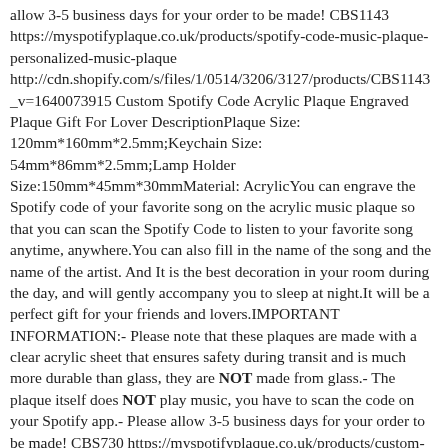allow 3-5 business days for your order to be made! CBS1143 https://myspotifyplaque.co.uk/products/spotify-code-music-plaque-personalized-music-plaque http://cdn.shopify.com/s/files/1/0514/3206/3127/products/CBS1143_v=1640073915 Custom Spotify Code Acrylic Plaque Engraved Plaque Gift For Lover DescriptionPlaque Size: 120mm*160mm*2.5mm;Keychain Size: 54mm*86mm*2.5mm;Lamp Holder Size:150mm*45mm*30mmMaterial: AcrylicYou can engrave the Spotify code of your favorite song on the acrylic music plaque so that you can scan the Spotify Code to listen to your favorite song anytime, anywhere.You can also fill in the name of the song and the name of the artist. And It is the best decoration in your room during the day, and will gently accompany you to sleep at night.It will be a perfect gift for your friends and lovers.IMPORTANT INFORMATION:- Please note that these plaques are made with a clear acrylic sheet that ensures safety during transit and is much more durable than glass, they are NOT made from glass.- The plaque itself does NOT play music, you have to scan the code on your Spotify app.- Please allow 3-5 business days for your order to be made! CBS730 https://myspotifyplaque.co.uk/products/custom-spotify-code-acrylic-plaque-engraved-plaque-gift-for-lover http://cdn.shopify.com/s/files/1/0514/3206/3127/products/CBS730-Black_grande.jpg?v=1639367489 Spotify Code Acrylic Keychain Engraved Keychain Gift For Lover DescriptionPlaque Size: 45mm*145mm*15.7mm;Keychain Si…